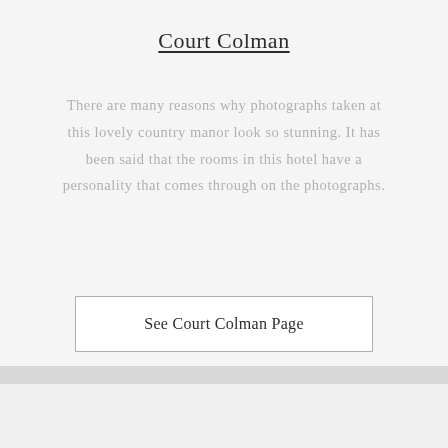Court Colman
There are many reasons why photographs taken at this lovely country manor look so stunning. It has been said that the rooms in this hotel have a personality that comes through on the photographs.
See Court Colman Page
[Figure (photo): Partial circular photo of Court Colman manor, showing architectural details, bottom of page]